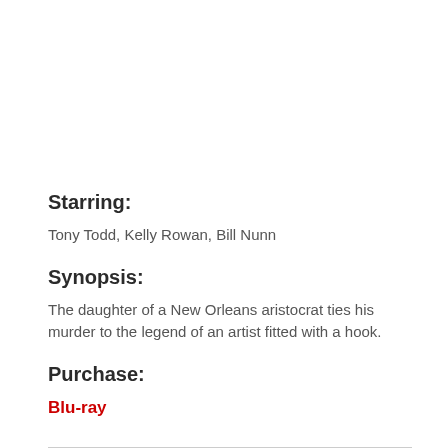Starring:
Tony Todd, Kelly Rowan, Bill Nunn
Synopsis:
The daughter of a New Orleans aristocrat ties his murder to the legend of an artist fitted with a hook.
Purchase:
Blu-ray